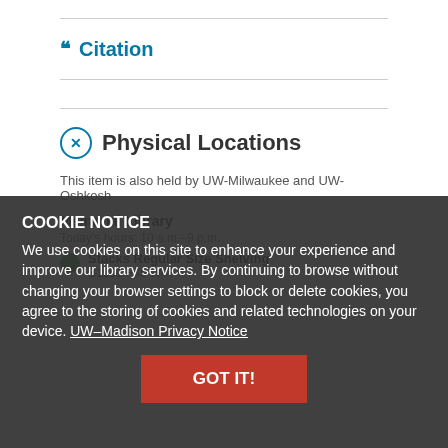Citation
Physical Locations
This item is also held by UW-Milwaukee and UW-Oshkosh
Stacks Regular Size Shelving
B1901 F45 W47
COOKIE NOTICE
We use cookies on this site to enhance your experience and improve our library services. By continuing to browse without changing your browser settings to block or delete cookies, you agree to the storing of cookies and related technologies on your device. UW–Madison Privacy Notice
GOT IT!